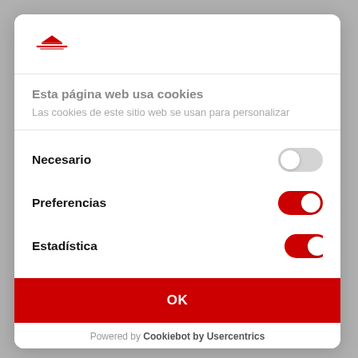[Figure (logo): Red pizza/hat shaped logo with red text below]
Esta página web usa cookies
Las cookies de este sitio web se usan para personalizar
Necesario
Preferencias
Estadística
OK
Powered by Cookiebot by Usercentrics